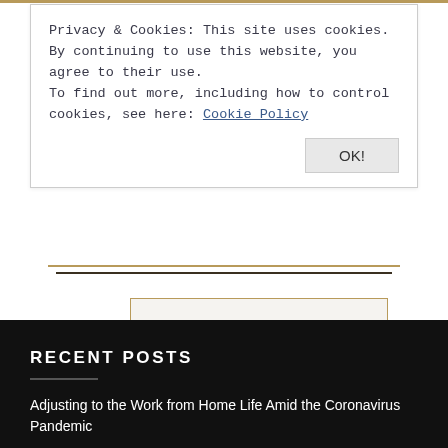Privacy & Cookies: This site uses cookies. By continuing to use this website, you agree to their use.
To find out more, including how to control cookies, see here: Cookie Policy

OK!
Book a discovery call.
RECENT POSTS
Adjusting to the Work from Home Life Amid the Coronavirus Pandemic